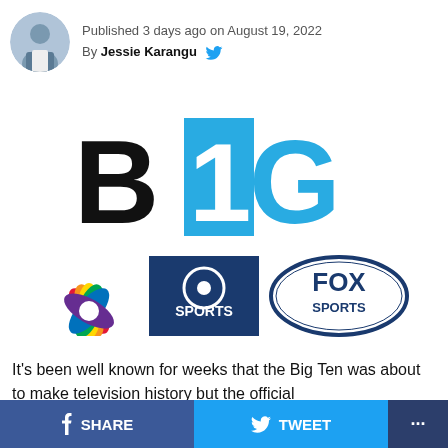Published 3 days ago on August 19, 2022
By Jessie Karangu
[Figure (logo): Big Ten logo with NBC, CBS Sports, and Fox Sports network logos]
It’s been well known for weeks that the Big Ten was about to make television history but the official
SHARE   TWEET   ...